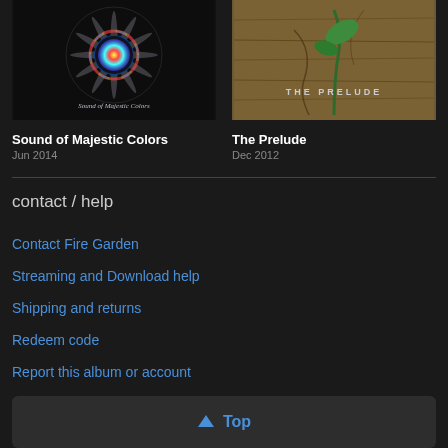[Figure (photo): Album cover for 'Sound of Majestic Colors' — dark background with colorful mandala/snowflake pattern and text 'Sound of Majestic Colors']
Sound of Majestic Colors
Jun 2014
[Figure (photo): Album cover for 'The Prelude' — warm brown wooden background with a small green plant sprout and text 'THE PRELUDE']
The Prelude
Dec 2012
contact / help
Contact Fire Garden
Streaming and Download help
Shipping and returns
Redeem code
Report this album or account
⬆ Top